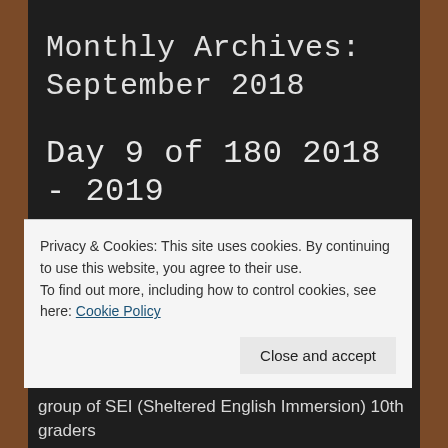Monthly Archives: September 2018
Day 9 of 180 2018 - 2019
This has been the craziest beginning of a school year. Heat has been so horrendous that, a full five of the last nine days have been half days!  (Climate change, ladies and gentlemen, it’s not a hoax.) This is going to be our
Privacy & Cookies: This site uses cookies. By continuing to use this website, you agree to their use.
To find out more, including how to control cookies, see here: Cookie Policy
group of SEI (Sheltered English Immersion) 10th graders